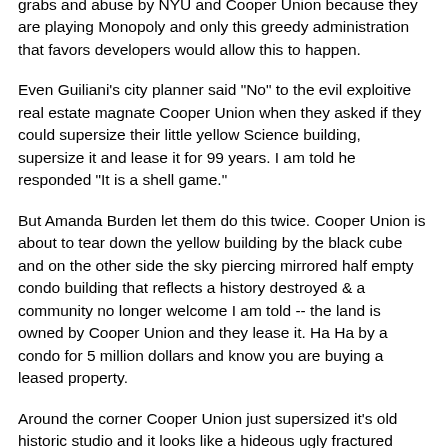grabs and abuse by NYU and Cooper Union because they are playing Monopoly and only this greedy administration that favors developers would allow this to happen.
Even Guiliani's city planner said "No" to the evil exploitive real estate magnate Cooper Union when they asked if they could supersize their little yellow Science building, supersize it and lease it for 99 years. I am told he responded "It is a shell game."
But Amanda Burden let them do this twice. Cooper Union is about to tear down the yellow building by the black cube and on the other side the sky piercing mirrored half empty condo building that reflects a history destroyed & a community no longer welcome I am told -- the land is owned by Cooper Union and they lease it. Ha Ha by a condo for 5 million dollars and know you are buying a leased property.
Around the corner Cooper Union just supersized it's old historic studio and it looks like a hideous ugly fractured aquarium that belongs on a Hollywood set of a bad B